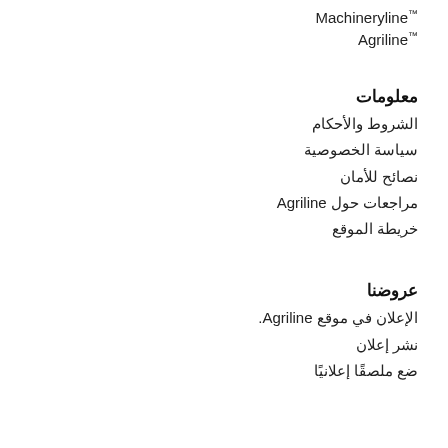™Machineryline
™Agriline
معلومات
الشروط والأحكام
سياسة الخصوصية
نصائح للأمان
مراجعات حول Agriline
خريطة الموقع
عروضنا
الإعلان في موقع Agriline.
نشر إعلان
ضع ملصقًا إعلانيًا